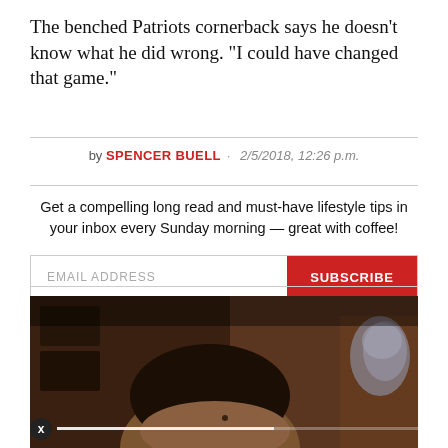The benched Patriots cornerback says he doesn't know what he did wrong. "I could have changed that game."
by SPENCER BUELL · 2/5/2018, 12:26 p.m.
Get a compelling long read and must-have lifestyle tips in your inbox every Sunday morning — great with coffee!
[Figure (photo): Photo of a man (NFL player) in a locker room setting, cropped at the top of the frame. Background shows lockers and equipment.]